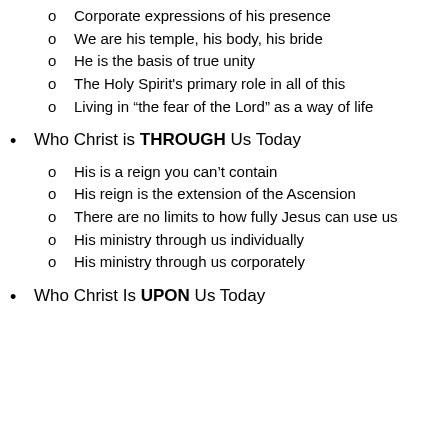Corporate expressions of his presence
We are his temple, his body, his bride
He is the basis of true unity
The Holy Spirit's primary role in all of this
Living in “the fear of the Lord” as a way of life
Who Christ is THROUGH Us Today
His is a reign you can’t contain
His reign is the extension of the Ascension
There are no limits to how fully Jesus can use us
His ministry through us individually
His ministry through us corporately
Who Christ Is UPON Us Today